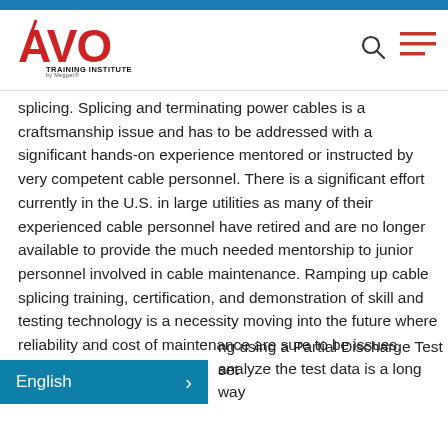[Figure (logo): AVO Training Institute by Megger logo in red and black]
splicing. Splicing and terminating power cables is a craftsmanship issue and has to be addressed with a significant hands-on experience mentored or instructed by very competent cable personnel. There is a significant effort currently in the U.S. in large utilities as many of their experienced cable personnel have retired and are no longer available to provide the much needed mentorship to junior personnel involved in cable maintenance. Ramping up cable splicing training, certification, and demonstration of skill and testing technology is a necessity moving into the future where reliability and cost of maintenance are sure to be issues.
ng using a Partial Discharge Test set analyze the test data is a long way